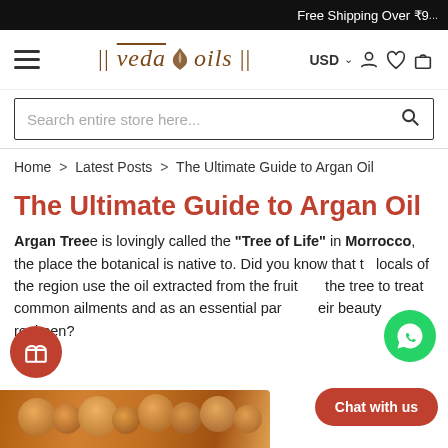Free Shipping Over ₹9...
[Figure (logo): VedaOils logo with decorative bars and stylized text in brown/gold serif italic font]
Search entire store here...
Home > Latest Posts > The Ultimate Guide to Argan Oil
The Ultimate Guide to Argan Oil
Argan Tree is lovingly called the "Tree of Life" in Morrocco, the place the botanical is native to. Did you know that the locals of the region use the oil extracted from the fruit of the tree to treat common ailments and as an essential part of their beauty regimen?